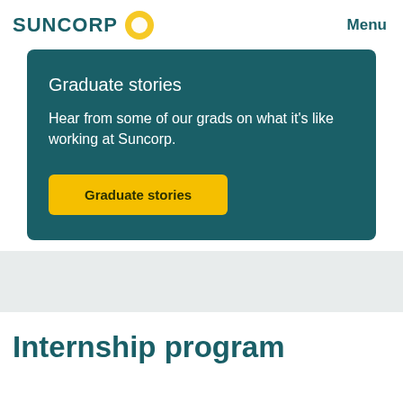SUNCORP  Menu
Graduate stories
Hear from some of our grads on what it's like working at Suncorp.
Graduate stories
Internship program